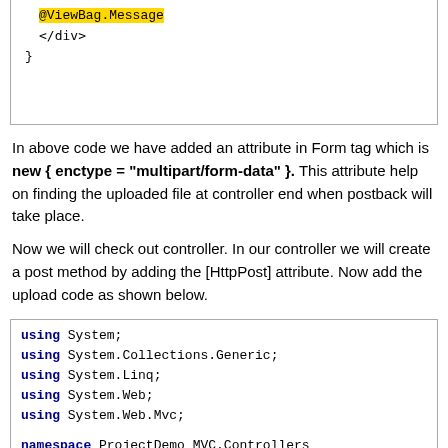[Figure (screenshot): Code snippet top fragment showing @ViewBag.Message, </div>, and closing brace]
In above code we have added an attribute in Form tag which is new { enctype = "multipart/form-data" }. This attribute help on finding the uploaded file at controller end when postback will take place.
Now we will check out controller. In our controller we will create a post method by adding the [HttpPost] attribute. Now add the upload code as shown below.
[Figure (screenshot): Code snippet showing using statements and namespace declaration for ProjectDemo_MVC.Controllers]